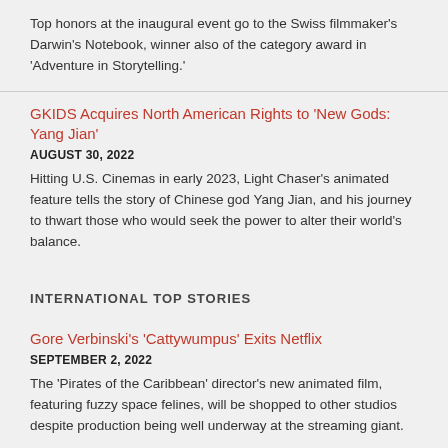Top honors at the inaugural event go to the Swiss filmmaker's Darwin's Notebook, winner also of the category award in 'Adventure in Storytelling.'
GKIDS Acquires North American Rights to 'New Gods: Yang Jian'
AUGUST 30, 2022
Hitting U.S. Cinemas in early 2023, Light Chaser's animated feature tells the story of Chinese god Yang Jian, and his journey to thwart those who would seek the power to alter their world's balance.
INTERNATIONAL TOP STORIES
Gore Verbinski's 'Cattywumpus' Exits Netflix
SEPTEMBER 2, 2022
The 'Pirates of the Caribbean' director's new animated film, featuring fuzzy space felines, will be shopped to other studios despite production being well underway at the streaming giant.